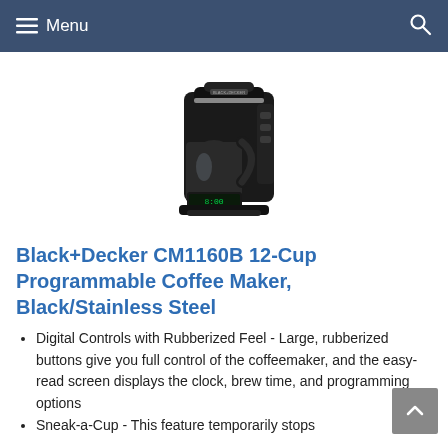Menu
[Figure (photo): Black+Decker CM1160B 12-Cup Programmable Coffee Maker product photo, black coffee maker with glass carafe and digital display]
Black+Decker CM1160B 12-Cup Programmable Coffee Maker, Black/Stainless Steel
Digital Controls with Rubberized Feel - Large, rubberized buttons give you full control of the coffeemaker, and the easy-read screen displays the clock, brew time, and programming options
Sneak-a-Cup - This feature temporarily stops